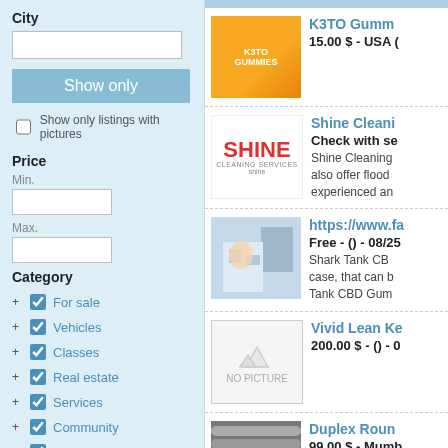City
Show only
Show only listings with pictures
Price
Min.
Max.
Category
+ For sale
+ Vehicles
+ Classes
+ Real estate
+ Services
+ Community
+ Jobs
+ Personals
APPLY
K3TO Gumm - 15.00 $ - USA
Shine Cleaning Services - Check with seller - Shine Cleaning also offer flood experienced an
https://www.fa - Free - () - 08/25 - Shark Tank CB case, that can Tank CBD Gum
Vivid Lean Ke - 200.00 $ - () - 0
Duplex Roun - 99.00 $ - Mumb - Tri Round Bars manufactured f 2205 Round Ba